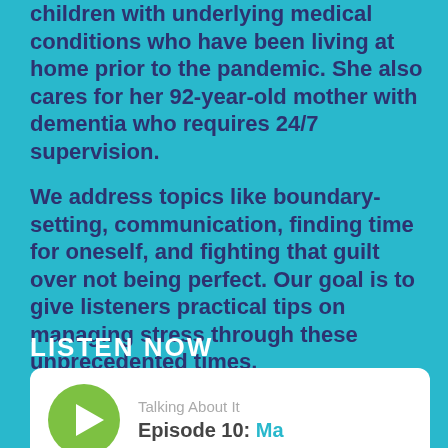children with underlying medical conditions who have been living at home prior to the pandemic. She also cares for her 92-year-old mother with dementia who requires 24/7 supervision.
We address topics like boundary-setting, communication, finding time for oneself, and fighting that guilt over not being perfect. Our goal is to give listeners practical tips on managing stress through these unprecedented times.
LISTEN NOW
[Figure (other): Podcast player card showing a green circular play button, show name 'Talking About It', and episode title 'Episode 10: Ma...' (truncated)]